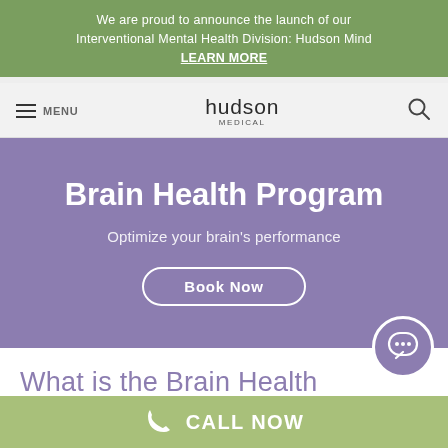We are proud to announce the launch of our Interventional Mental Health Division: Hudson Mind
LEARN MORE
[Figure (screenshot): Hudson Medical logo with hamburger menu on left and search icon on right]
Brain Health Program
Optimize your brain's performance
Book Now
What is the Brain Health
CALL NOW